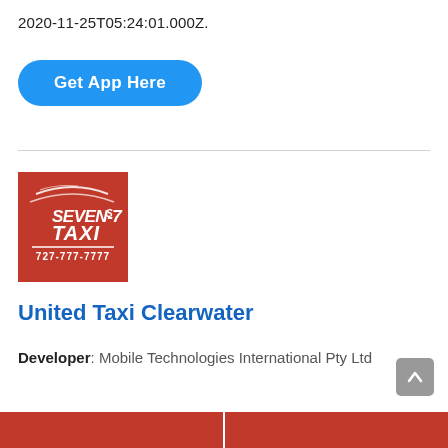2020-11-25T05:24:01.000Z.
Get App Here
[Figure (logo): Seven-7s Taxi logo on red background with white italic text reading SEVEN-7s TAXI and phone number 727-777-7777]
United Taxi Clearwater
Developer: Mobile Technologies International Pty Ltd